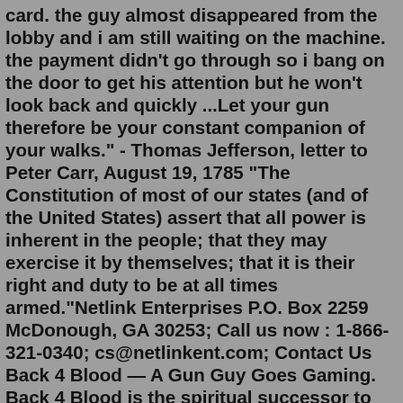card. the guy almost disappeared from the lobby and i am still waiting on the machine. the payment didn't go through so i bang on the door to get his attention but he won't look back and quickly ...Let your gun therefore be your constant companion of your walks." - Thomas Jefferson, letter to Peter Carr, August 19, 1785 "The Constitution of most of our states (and of the United States) assert that all power is inherent in the people; that they may exercise it by themselves; that it is their right and duty to be at all times armed."Netlink Enterprises P.O. Box 2259 McDonough, GA 30253; Call us now : 1-866-321-0340; cs@netlinkent.com; Contact Us Back 4 Blood — A Gun Guy Goes Gaming. Back 4 Blood is the spiritual successor to the very popular Left 4 Dead series. Like its predecessor, Back 4 Blood is a zombie horde shooter that challenges you to fight wave after wave of the undead with a multitude of weapons and a bit of the old ultra-violence. To be fair, I hardly played the Left 4 ...Feb 06, 2019 · Careful: You Might Need a Gun Trust. Make a mistake when inheriting